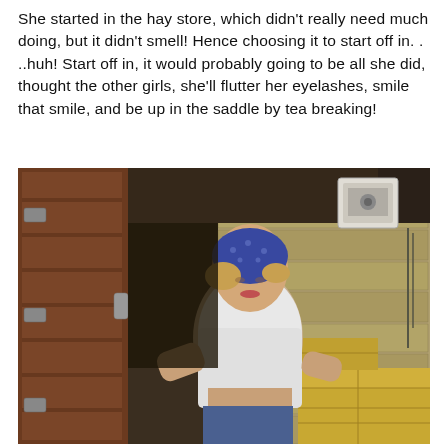She started in the hay store, which didn't really need much doing, but it didn't smell! Hence choosing it to start off in. . ..huh! Start off in, it would probably going to be all she did, thought the other girls, she'll flutter her eyelashes, smile that smile, and be up in the saddle by tea breaking!
[Figure (photo): A young woman with short curly blonde hair wearing a blue polka-dot bandana headscarf and a white cropped top with jeans, leaning forward inside a barn or hay store. The interior shows wooden barn doors on the left, stone/brick walls, hay bales on the right, and a white electrical box mounted on the wall in the background.]